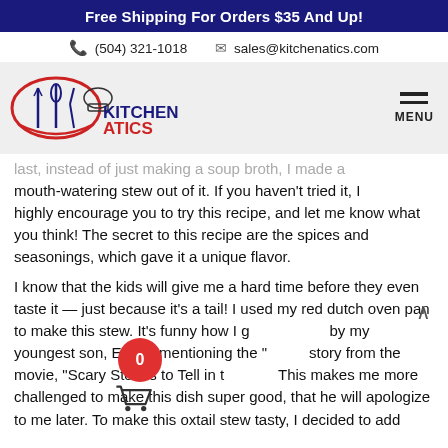Free Shipping For Orders $35 And Up!
(504) 321-1018   sales@kitchenatics.com
[Figure (logo): Kitchenatics logo with fork, knife and spoon in a red circle oval, chef hat, and KITCHENATICS text in blue and red]
last, instead of just making a soup broth, I made a mouth-watering stew out of it. If you haven't tried it, I highly encourage you to try this recipe, and let me know what you think! The secret to this recipe are the spices and seasonings, which gave it a unique flavor.
I know that the kids will give me a hard time before they even taste it — just because it's a tail! I used my red dutch oven pan to make this stew. It's funny how I g[cart overlay]by my youngest son, Ethan, mentioning the "[cart overlay]story from the movie, "Scary Stories to Tell in t[cart overlay] This makes me more challenged to make this dish super good, that he will apologize to me later. To make this oxtail stew tasty, I decided to add